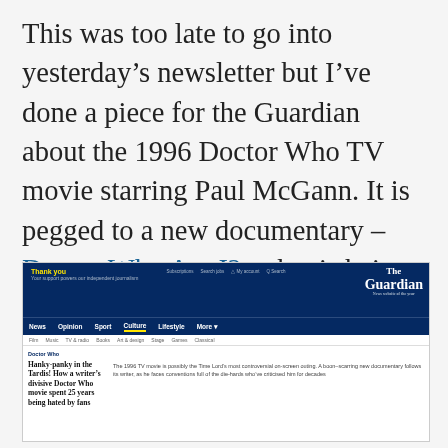This was too late to go into yesterday's newsletter but I've done a piece for the Guardian about the 1996 Doctor Who TV movie starring Paul McGann. It is pegged to a new documentary – Doctor Who Am I? – that is being screened in London for the first time today.
[Figure (screenshot): Screenshot of The Guardian website showing an article: 'Hanky-panky in the Tardis! How a writer's divisive Doctor Who movie spent 25 years being hated by fans'. The Guardian header with navy blue navigation bar is visible, along with article tag 'Doctor Who', article description text, and partial article thumbnail images at the bottom.]